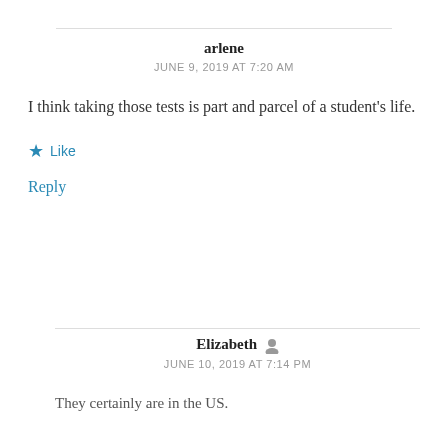arlene
JUNE 9, 2019 AT 7:20 AM
I think taking those tests is part and parcel of a student's life.
★ Like
Reply
Elizabeth
JUNE 10, 2019 AT 7:14 PM
They certainly are in the US.